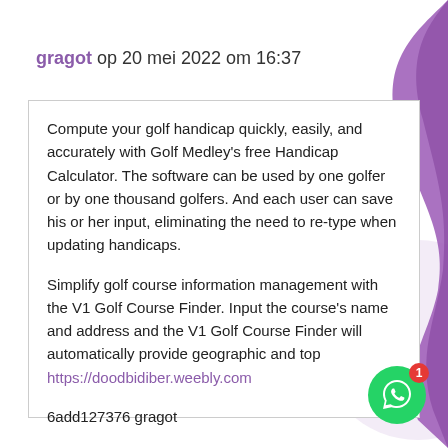gragot op 20 mei 2022 om 16:37
Compute your golf handicap quickly, easily, and accurately with Golf Medley's free Handicap Calculator. The software can be used by one golfer or by one thousand golfers. And each user can save his or her input, eliminating the need to re-type when updating handicaps.

Simplify golf course information management with the V1 Golf Course Finder. Input the course's name and address and the V1 Golf Course Finder will automatically provide geographic and top
https://doodbidiber.weebly.com

6add127376 gragot